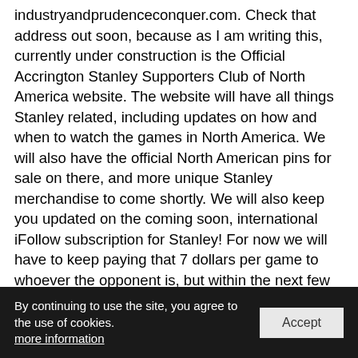industryandprudenceconquer.com. Check that address out soon, because as I am writing this, currently under construction is the Official Accrington Stanley Supporters Club of North America website. The website will have all things Stanley related, including updates on how and when to watch the games in North America. We will also have the official North American pins for sale on there, and more unique Stanley merchandise to come shortly. We will also keep you updated on the coming soon, international iFollow subscription for Stanley! For now we will have to keep paying that 7 dollars per game to whoever the opponent is, but within the next few weeks, (possibly before this comes out) us international supporters will be able to stream all of the games directly from the Official Accrington Stanley website! The cost on the full season subscription last year was 140 U.S. Dollars for 46 games. It is an amazing t... anley supporter, and I don't care who calls us tinpot, because we are Stanley. "The Most Famous Minnow Team In The
By continuing to use the site, you agree to the use of cookies.